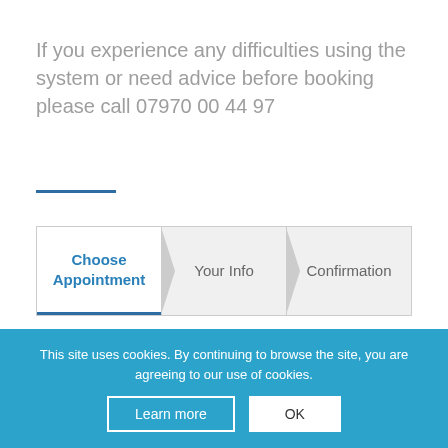If you experience any difficulties using the system or need advice before booking please call 07970 00 44 97
[Figure (other): Horizontal blue divider line]
[Figure (other): Three-step progress tab bar with steps: Choose Appointment (active), Your Info, Confirmation]
Returning? Log in
[Figure (other): Empty search/input box with border]
This site uses cookies. By continuing to browse the site, you are agreeing to our use of cookies.